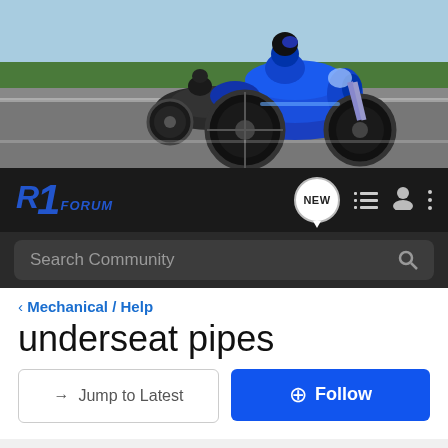[Figure (photo): Hero banner photo of two Yamaha R1 motorcycles racing on a track. A blue R1 in foreground and a dark-colored R1 behind it on asphalt with green grass and trees visible in background.]
R1 FORUM
Search Community
< Mechanical / Help
underseat pipes
→ Jump to Latest
+ Follow
1 - 10 of 10 Posts
bal · im burning japanese
Joined Nov 23, 2001 · 6 Posts